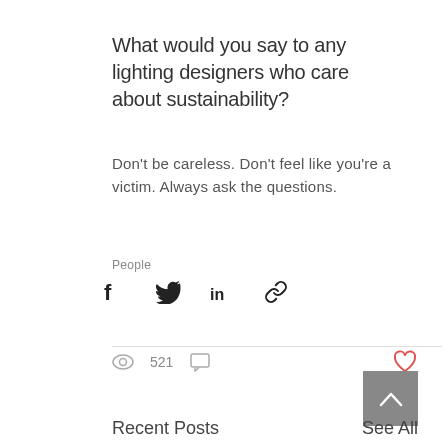What would you say to any lighting designers who care about sustainability?
Don't be careless. Don't feel like you're a victim. Always ask the questions.
People
[Figure (infographic): Social share icons: Facebook, Twitter, LinkedIn, chain/link]
521 views, comment icon, heart icon, scroll-to-top button
Recent Posts
See All
[Figure (photo): Bottom row preview images of recent posts]